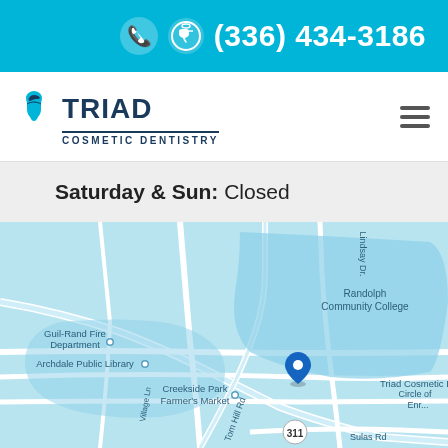(336) 434-3186
[Figure (logo): Triad Cosmetic Dentistry logo with tooth icon]
Saturday & Sun: Closed
[Figure (map): Google Maps view showing Triad Cosmetic Dentistry location near Randolph Community College, Archdale Public Library, Creekside Park Farmer's Market, with route 311 visible]